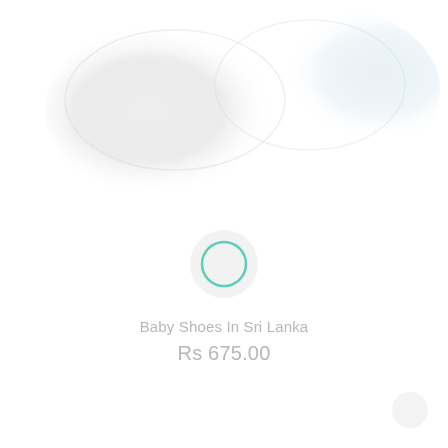[Figure (photo): Faded product photo showing white baby shoes in the upper portion of the page, very light and washed out]
[Figure (other): Circular icon with teal/mint green ring outline, light grey background circle, centered on page]
Baby Shoes In Sri Lanka
Rs 675.00
[Figure (other): Small circle element in bottom right corner]